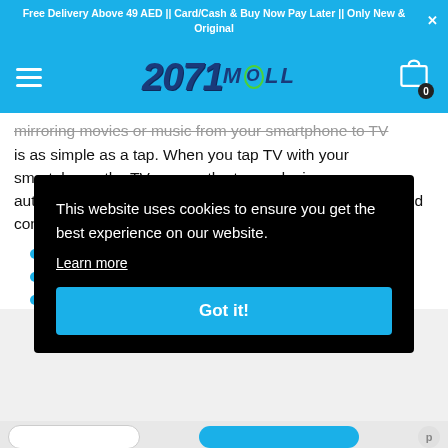Free Delivery Above 49 AED || Card/Cash & Buy Now Pay Later || Only New & Original
[Figure (logo): 2071MALL e-commerce logo with blue background and hamburger menu and cart icon]
Mirroring movies or music from your smartphone to TV is as simple as a tap. When you tap TV with your smartphone, the TV senses the tap and mirrors automatically. So it's quick and easy to switch to the TV and continue enjoying your favorite content.
This website uses cookies to ensure you get the best experience on our website.
Learn more
Got it!